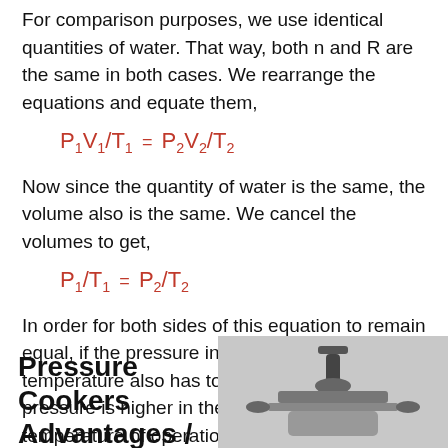For comparison purposes, we use identical quantities of water. That way, both n and R are the same in both cases. We rearrange the equations and equate them,
Now since the quantity of water is the same, the volume also is the same. We cancel the volumes to get,
In order for both sides of this equation to remain equal, if the pressure increases, the temperature also has to increase. Since the pressure is higher in the pressure cooker, its temperature of operation must also be higher.
Pressure Cookers Advantages /
[Figure (photo): Photo of a pressure cooker valve/top component, metallic, on a light gray background]